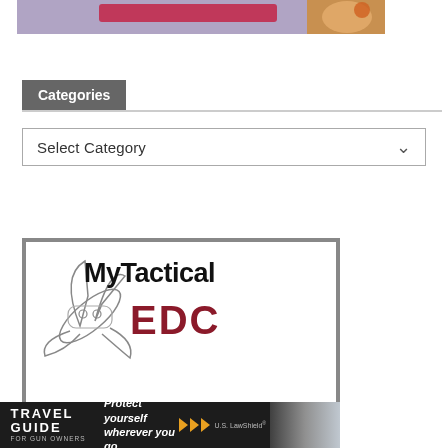[Figure (illustration): Top banner with purple/lavender background, pink/crimson rectangular button, and illustrated character on right side]
Categories
[Figure (screenshot): Dropdown select box with 'Select Category' placeholder text and a chevron arrow on the right]
[Figure (logo): MyTactical EDC logo with Swiss Army knife illustration. Text reads 'MyTactical' in black and 'EDC' in dark red/crimson. Below: 'See Your Pocket Dump LIVE!']
[Figure (illustration): Travel Guide for Gun Owners advertisement banner: dark background with 'TRAVEL GUIDE FOR GUN OWNERS' text on left, 'Protect yourself wherever you go.' in italic white, orange play arrows, U.S. LawShield branding, and blurred background image]